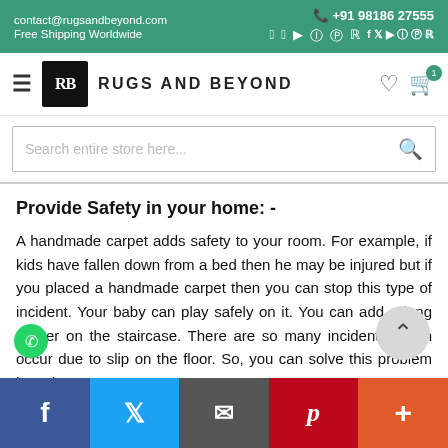contact@rugsandbeyond.com | Free Shipping Worldwide | +91 98186 27555
[Figure (logo): Rugs and Beyond logo with RB monogram in black square]
Search entire store here...
Provide Safety in your home: -
A handmade carpet adds safety to your room. For example, if kids have fallen down from a bed then he may be injured but if you placed a handmade carpet then you can stop this type of incident. Your baby can play safely on it. You can add a long runner on the staircase. There are so many incidents which occur due to slip on the floor. So, you can solve this problem by using a
Facebook | Twitter | Email | Pinterest | More